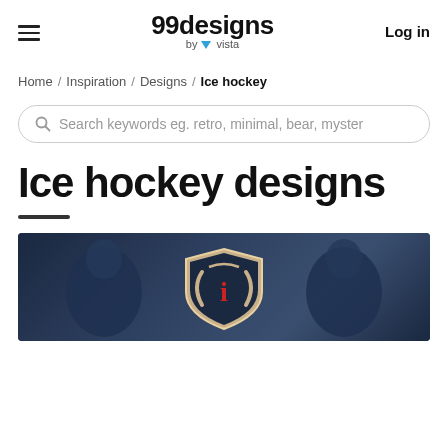99designs by vista | Log in
Home / Inspiration / Designs / Ice hockey
Search keywords eg. retro, minimal, bear, myster
Ice hockey designs
[Figure (photo): Ice hockey players in uniforms with a shield/crest logo featuring stylized letters, dark blue background]